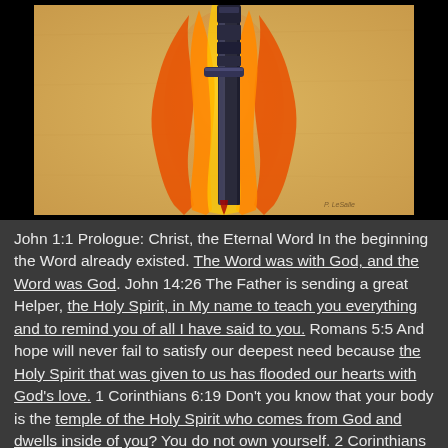[Figure (illustration): Painting of a sword or blade surrounded by orange and yellow flames set against a parchment-colored background, with a black border around the image.]
John 1:1 Prologue: Christ, the Eternal Word In the beginning the Word already existed. The Word was with God, and the Word was God. John 14:26 The Father is sending a great Helper, the Holy Spirit, in My name to teach you everything and to remind you of all I have said to you. Romans 5:5 And hope will never fail to satisfy our deepest need because the Holy Spirit that was given to us has flooded our hearts with God's love. 1 Corinthians 6:19 Don't you know that your body is the temple of the Holy Spirit who comes from God and dwells inside of you? You do not own yourself. 2 Corinthians 13:14 May the grace of